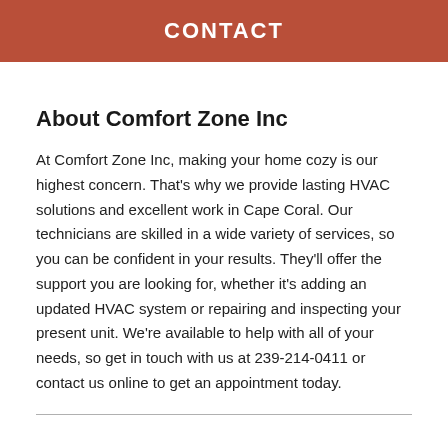CONTACT
About Comfort Zone Inc
At Comfort Zone Inc, making your home cozy is our highest concern. That’s why we provide lasting HVAC solutions and excellent work in Cape Coral. Our technicians are skilled in a wide variety of services, so you can be confident in your results. They’ll offer the support you are looking for, whether it’s adding an updated HVAC system or repairing and inspecting your present unit. We’re available to help with all of your needs, so get in touch with us at 239-214-0411 or contact us online to get an appointment today.